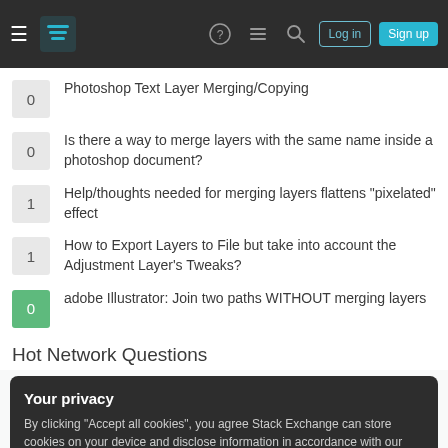Stack Exchange navigation bar with logo, icons, Log in and Sign up buttons
0 — Photoshop Text Layer Merging/Copying
0 — Is there a way to merge layers with the same name inside a photoshop document?
1 — Help/thoughts needed for merging layers flattens "pixelated" effect
1 — How to Export Layers to File but take into account the Adjustment Layer's Tweaks?
0 — adobe Illustrator: Join two paths WITHOUT merging layers
Hot Network Questions
Your privacy
By clicking "Accept all cookies", you agree Stack Exchange can store cookies on your device and disclose information in accordance with our Cookie Policy.
Accept all cookies   Customize settings